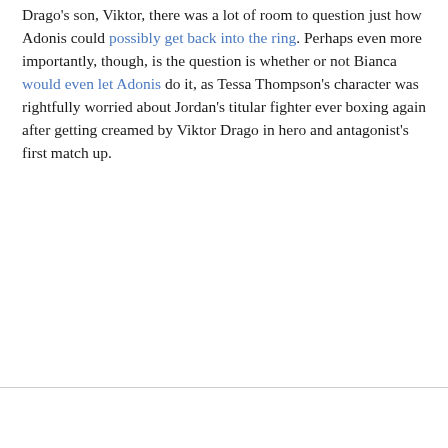Drago's son, Viktor, there was a lot of room to question just how Adonis could possibly get back into the ring. Perhaps even more importantly, though, is the question is whether or not Bianca would even let Adonis do it, as Tessa Thompson's character was rightfully worried about Jordan's titular fighter ever boxing again after getting creamed by Viktor Drago in hero and antagonist's first match up.